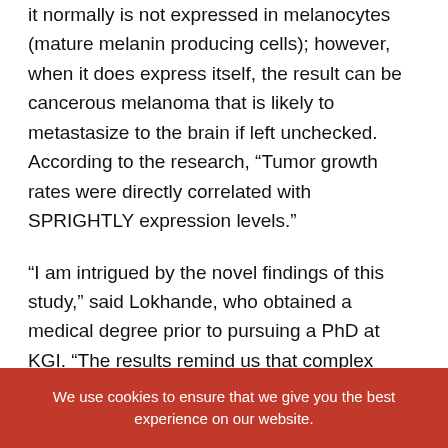it normally is not expressed in melanocytes (mature melanin producing cells); however, when it does express itself, the result can be cancerous melanoma that is likely to metastasize to the brain if left unchecked. According to the research, “Tumor growth rates were directly correlated with SPRIGHTLY expression levels.”
“I am intrigued by the novel findings of this study,” said Lokhande, who obtained a medical degree prior to pursuing a PhD at KGI. “The results remind us that complex diseases such as cancer might have their origins hidden in the most unsuspecting of all places—the long non-coding RNAs (lncRNAs) and their interaction with other RNA molecules.”
We use cookies to ensure that we give you the best experience on our website.